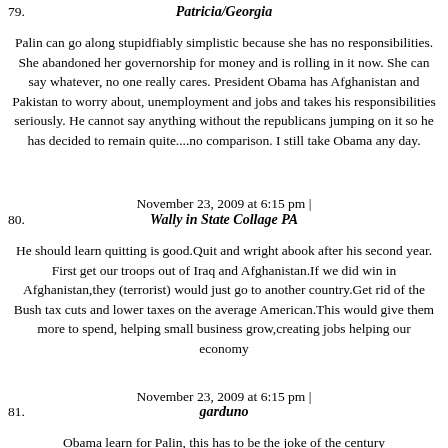79. Patricia/Georgia
Palin can go along stupidfiably simplistic because she has no responsibilities. She abandoned her governorship for money and is rolling in it now. She can say whatever, no one really cares. President Obama has Afghanistan and Pakistan to worry about, unemployment and jobs and takes his responsibilities seriously. He cannot say anything without the republicans jumping on it so he has decided to remain quite....no comparison. I still take Obama any day.
November 23, 2009 at 6:15 pm |
80. Wally in State Collage PA
He should learn quitting is good.Quit and wright abook after his second year. First get our troops out of Iraq and Afghanistan.If we did win in Afghanistan,they (terrorist) would just go to another country.Get rid of the Bush tax cuts and lower taxes on the average American.This would give them more to spend, helping small business grow,creating jobs helping our economy
November 23, 2009 at 6:15 pm |
81. garduno
Obama learn for Palin, this has to be the joke of the century